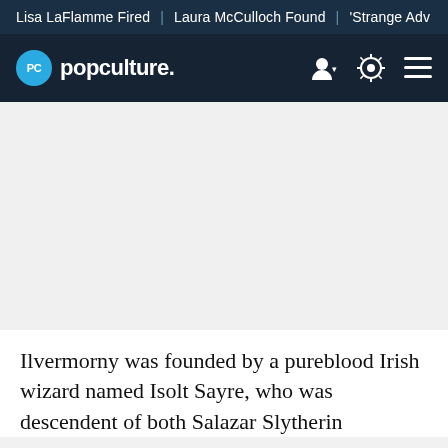Lisa LaFlamme Fired | Laura McCulloch Found | 'Strange Adv
[Figure (logo): Popculture.com logo with blue circle PC icon and navigation icons]
[Figure (other): Empty content/ad area]
Ilvermorny was founded by a pureblood Irish wizard named Isolt Sayre, who was descendent of both Salazar Slytherin